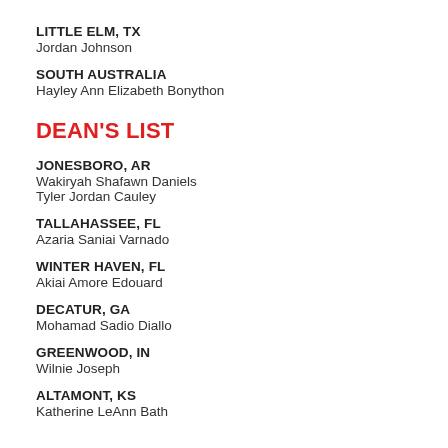LITTLE ELM, TX
Jordan Johnson
SOUTH AUSTRALIA
Hayley Ann Elizabeth Bonython
DEAN'S LIST
JONESBORO, AR
Wakiryah Shafawn Daniels
Tyler Jordan Cauley
TALLAHASSEE, FL
Azaria Saniai Varnado
WINTER HAVEN, FL
Akiai Amore Edouard
DECATUR, GA
Mohamad Sadio Diallo
GREENWOOD, IN
Wilnie Joseph
ALTAMONT, KS
Katherine LeAnn Bath